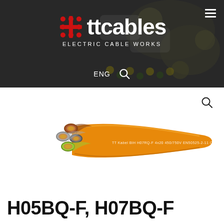[Figure (logo): TT Cables Electric Cable Works logo with red cross/dot grid icon on dark background with cable imagery]
[Figure (photo): Product photo of H07BQ-F cable with orange outer sheath, showing four conductors in brown, grey, yellow-green colors with copper stranding visible at ends]
H05BQ-F, H07BQ-F